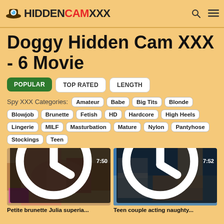HiddenCAMXXX
Doggy Hidden Cam XXX - 6 Movie
POPULAR
TOP RATED
LENGTH
Spy XXX Categories: Amateur Babe Big Tits Blonde Blowjob Brunette Fetish HD Hardcore High Heels Lingerie MILF Masturbation Mature Nylon Pantyhose Stockings Teen
[Figure (photo): Video thumbnail showing intimate scene, duration badge 7:50]
Petite brunette Julia superia...
[Figure (photo): Video thumbnail showing teen couple scene, duration badge 7:52]
Teen couple acting naughty...